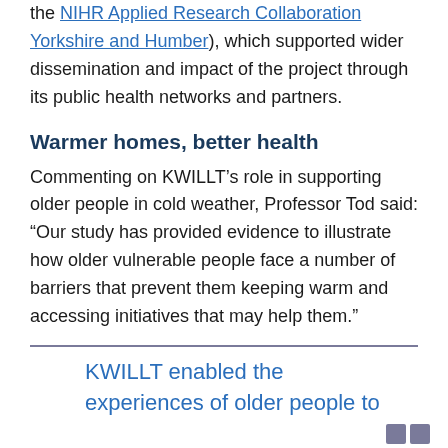the NIHR Applied Research Collaboration Yorkshire and Humber), which supported wider dissemination and impact of the project through its public health networks and partners.
Warmer homes, better health
Commenting on KWILLT’s role in supporting older people in cold weather, Professor Tod said: “Our study has provided evidence to illustrate how older vulnerable people face a number of barriers that prevent them keeping warm and accessing initiatives that may help them.”
KWILLT enabled the experiences of older people to